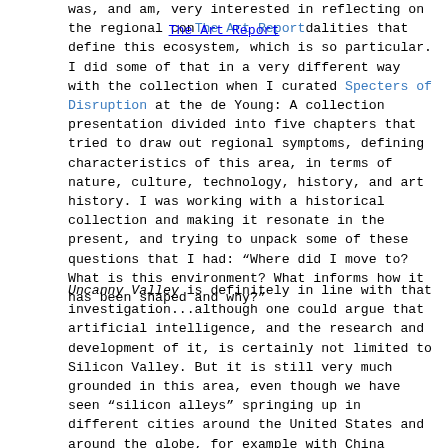The Art Report
was, and am, very interested in reflecting on the regional conditions and modalities that define this ecosystem, which is so particular. I did some of that in a very different way with the collection when I curated Specters of Disruption at the de Young: A collection presentation divided into five chapters that tried to draw out regional symptoms, defining characteristics of this area, in terms of nature, culture, technology, history, and art history. I was working with a historical collection and making it resonate in the present, and trying to unpack some of these questions that I had: “Where did I move to? What is this environment? What informs how it has been shaped and why?”
Uncanny Valley is definitely in line with that investigation...although one could argue that artificial intelligence, and the research and development of it, is certainly not limited to Silicon Valley. But it is still very much grounded in this area, even though we have seen “silicon alleys” springing up in different cities around the United States and around the globe, for example with China taking on an increasingly important role in the development of their own AI systems. But